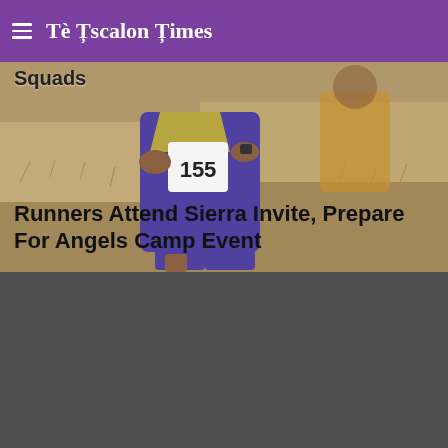Escalon Times
Squads
[Figure (photo): Cross country runner wearing bib number 155 in purple and yellow uniform, running on a dirt trail with dry grass in the background. Another runner visible behind.]
Runners Attend Sierra Invite, Prepare For Angels Camp Event
[Figure (photo): Dark gray/charcoal colored image block, appears to be a partially loaded or dark photograph.]